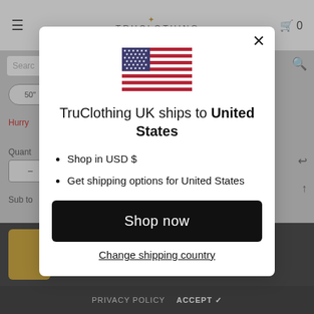[Figure (screenshot): E-commerce website background showing TruClothing header, search bar, size selector, quantity controls, and footer elements with a dark overlay]
[Figure (illustration): American flag (Stars and Stripes) icon displayed at top of modal dialog]
TruClothing UK ships to United States
Shop in USD $
Get shipping options for United States
Shop now
Change shipping country